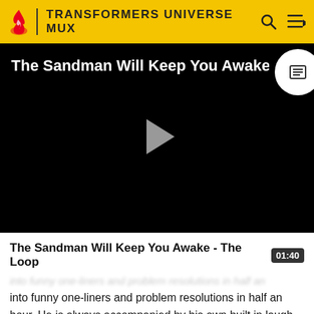TRANSFORMERS UNIVERSE MUX
[Figure (screenshot): Video player with black background showing title 'The Sandman Will Keep You Awake.' with a grey play button in center and a white circular CC badge top right]
The Sandman Will Keep You Awake - The Loop
01:40
into funny one-liners and problem resolutions in half an hour. He is always accompanied by his own built in laugh-track. People who claim to own no television because